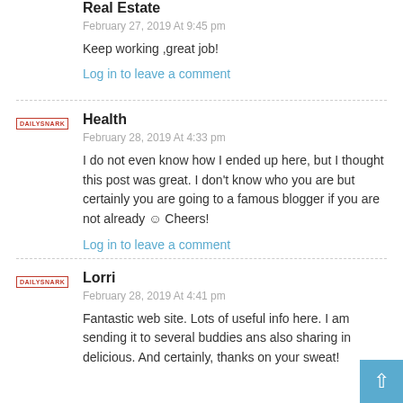Real Estate
February 27, 2019 At 9:45 pm
Keep working ,great job!
Log in to leave a comment
Health
February 28, 2019 At 4:33 pm
I do not even know how I ended up here, but I thought this post was great. I don't know who you are but certainly you are going to a famous blogger if you are not already ☺ Cheers!
Log in to leave a comment
Lorri
February 28, 2019 At 4:41 pm
Fantastic web site. Lots of useful info here. I am sending it to several buddies ans also sharing in delicious. And certainly, thanks on your sweat!